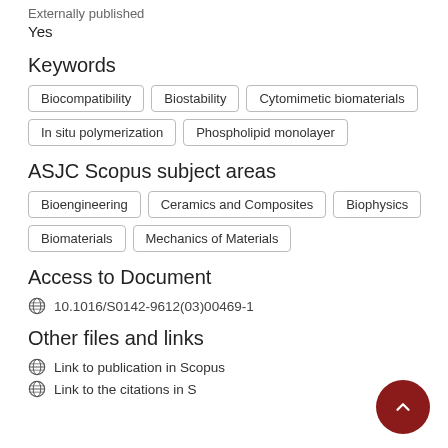Externally published
Yes
Keywords
Biocompatibility
Biostability
Cytomimetic biomaterials
In situ polymerization
Phospholipid monolayer
ASJC Scopus subject areas
Bioengineering
Ceramics and Composites
Biophysics
Biomaterials
Mechanics of Materials
Access to Document
10.1016/S0142-9612(03)00469-1
Other files and links
Link to publication in Scopus
Link to the citations in Scopus